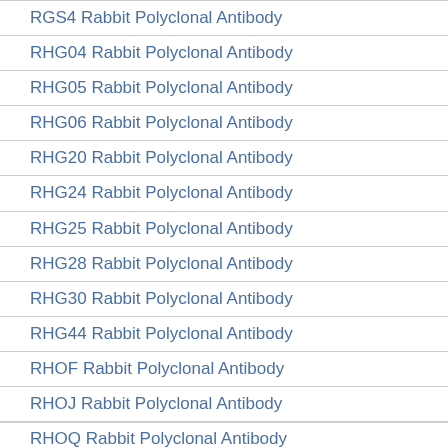RGS4 Rabbit Polyclonal Antibody
RHG04 Rabbit Polyclonal Antibody
RHG05 Rabbit Polyclonal Antibody
RHG06 Rabbit Polyclonal Antibody
RHG20 Rabbit Polyclonal Antibody
RHG24 Rabbit Polyclonal Antibody
RHG25 Rabbit Polyclonal Antibody
RHG28 Rabbit Polyclonal Antibody
RHG30 Rabbit Polyclonal Antibody
RHG44 Rabbit Polyclonal Antibody
RHOF Rabbit Polyclonal Antibody
RHOJ Rabbit Polyclonal Antibody
RHOQ Rabbit Polyclonal Antibody